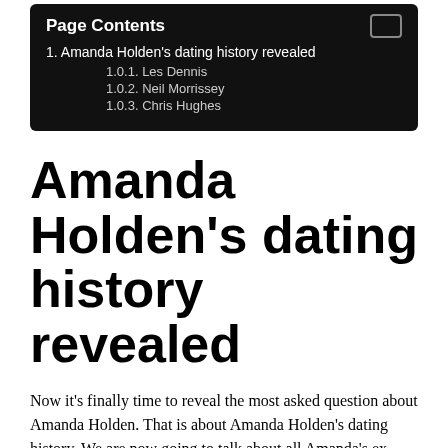Page Contents
1. Amanda Holden’s dating history revealed
1.0.1. Les Dennis
1.0.2. Neil Morrissey
1.0.3. Chris Hughes
Amanda Holden’s dating history revealed
Now it’s finally time to reveal the most asked question about Amanda Holden. That is about Amanda Holden’s dating history. We are now going to talk about all Amanda’s ex-boyfriends and partners. Further, we will also reveal her current relationship status.